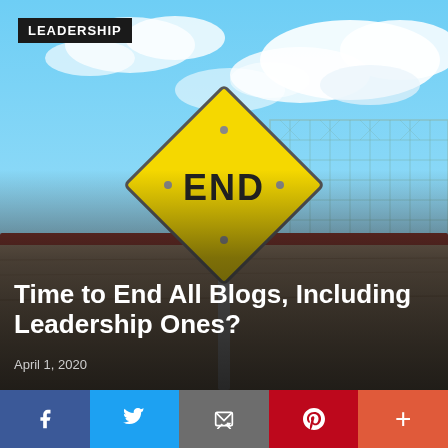[Figure (photo): Outdoor photo of a yellow diamond-shaped END road sign on a post in front of a chain-link fence, with a blue sky and clouds in the background. Dark semi-transparent overlay at the bottom of the image.]
LEADERSHIP
Time to End All Blogs, Including Leadership Ones?
April 1, 2020
Time to end all blogs, or at least, take a month off from publishing anything. Time for higher standards for leadership bloggers.
f  🐦  📧  p  +